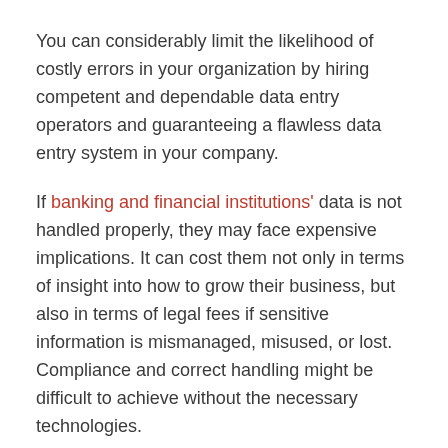You can considerably limit the likelihood of costly errors in your organization by hiring competent and dependable data entry operators and guaranteeing a flawless data entry system in your company.
If banking and financial institutions' data is not handled properly, they may face expensive implications. It can cost them not only in terms of insight into how to grow their business, but also in terms of legal fees if sensitive information is mismanaged, misused, or lost. Compliance and correct handling might be difficult to achieve without the necessary technologies.
Help create a better customer experience